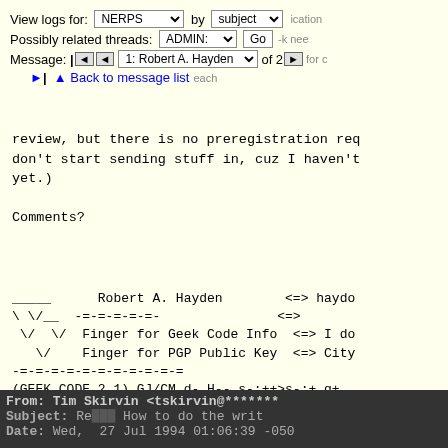View logs for: NERPS  by subject
Possibly related threads: ADMIN:  Go
Message: | ◄ ◄ 1: Robert A. Hayden ▼ of 2 ►
► | ▲ Back to message list
review, but there is no preregistration req
don't start sending stuff in, cuz I haven't
yet.)
Comments?
_____ Robert A. Hayden <=> hayden
\ \/__  -=-=-=-=-=-            <=>
 \/  \/  Finger for Geek Code Info  <=> I do
  \/   Finger for PGP Public Key  <=> City
-=-=-=-=-=-=-=-=-=-=
(GEEK CODE 2.1) GJ/CM d- H-- s-:++>s-:+ g+
            P+>++ L++$ 3- E---- N+++ K+
            j R+++$ G- tv+ b+ D+ B--- e
From: Tim Skirvin <tskirvin@*******
Subject: Re: How to do the writ
Date: Wed, 27 Jul 1994 01:06:39 -050